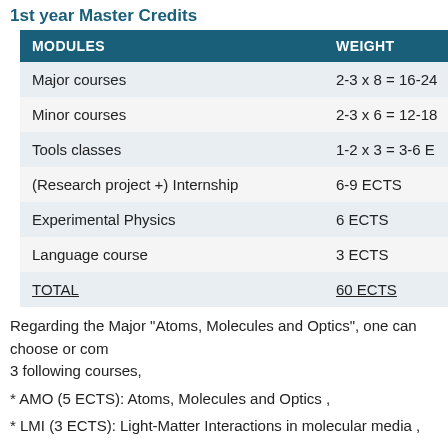1st year Master Credits
| MODULES | WEIGHT |
| --- | --- |
| Major courses | 2-3 x 8 = 16-24 |
| Minor courses | 2-3 x 6 = 12-18 |
| Tools classes | 1-2 x 3 = 3-6 E |
| (Research project +) Internship | 6-9 ECTS |
| Experimental Physics | 6 ECTS |
| Language course | 3 ECTS |
| TOTAL | 60 ECTS |
Regarding the Major "Atoms, Molecules and Optics", one can choose or com 3 following courses,
* AMO (5 ECTS): Atoms, Molecules and Optics ,
* LMI (3 ECTS): Light-Matter Interactions in molecular media ,
* NLO (3 ECTS): NonLinear Optics .
All the pedagogical choices for each type of class are summarized right belo